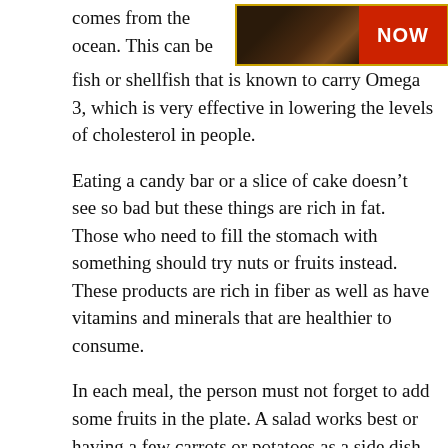[Figure (photo): A framed image with a food photo on the left and a red NOW button on the right, bordered in gold/orange]
comes from the ocean. This can be fish or shellfish that is known to carry Omega 3, which is very effective in lowering the levels of cholesterol in people.
Eating a candy bar or a slice of cake doesn’t see so bad but these things are rich in fat. Those who need to fill the stomach with something should try nuts or fruits instead. These products are rich in fiber as well as have vitamins and minerals that are healthier to consume.
In each meal, the person must not forget to add some fruits in the plate. A salad works best or having a few carrots or potatoes as a side dish. There must always be a balance whenever the individual decides to have meat or fish.